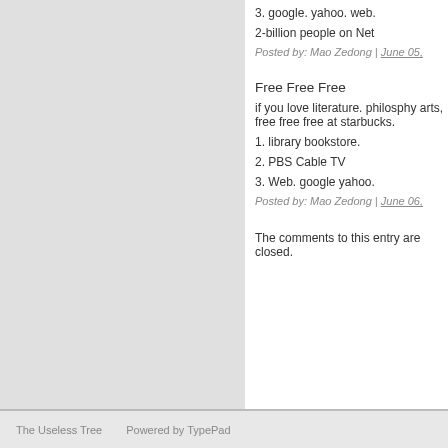3. google. yahoo. web.
2-billion people on Net
Posted by: Mao Zedong | June 05,
Free Free Free
if you love literature. philosphy arts, free free free at starbucks.
1. library bookstore.
2. PBS Cable TV
3. Web. google yahoo.
Posted by: Mao Zedong | June 06,
The comments to this entry are closed.
The Useless Tree   Powered by TypePad